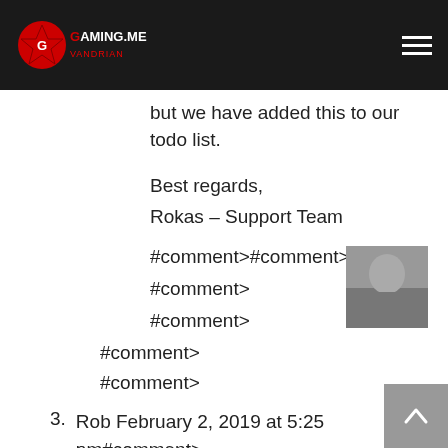GAMING.ME
but we have added this to our todo list.
Best regards,
Rokas – Support Team
[Figure (photo): Profile photo of a person, black and white]
#comment>#comment>
#comment>
#comment>
#comment>
#comment>
3. Rob February 2, 2019 at 5:25 pm#comment> Excellent plugin. Request the ability to be able to export all data into a CSV file! Normal